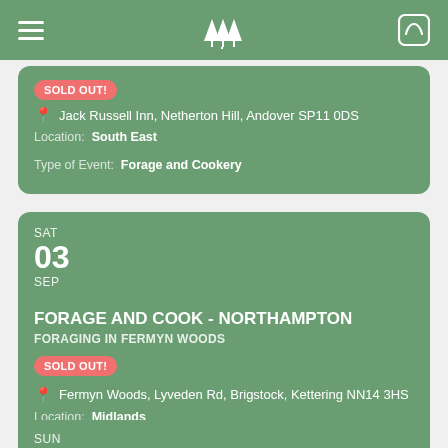Navigation bar with menu, tree logo, and cart icon
SOLD OUT!
Jack Russell Inn, Netherton Hill, Andover SP11 0DS
Location: South East
Type of Event: Forage and Cookery
SAT 03 SEP
FORAGE AND COOK - NORTHAMPTON
FORAGING IN FERMYN WOODS
SOLD OUT!
Fermyn Woods, Lyveden Rd, Brigstock, Kettering NN14 3HS
Location: Midlands
Type of Event: Forage and Cookery
SUN 04